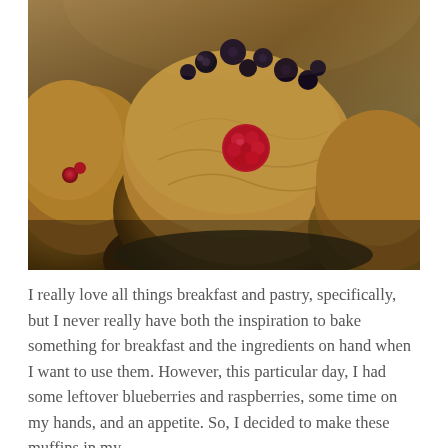[Figure (photo): Close-up photograph of freshly baked muffins with blueberries and raspberries on top, golden-brown color, in a muffin tin]
I really love all things breakfast and pastry, specifically, but I never really have both the inspiration to bake something for breakfast and the ingredients on hand when I want to use them. However, this particular day, I had some leftover blueberries and raspberries, some time on my hands, and an appetite. So, I decided to make these muffins in my